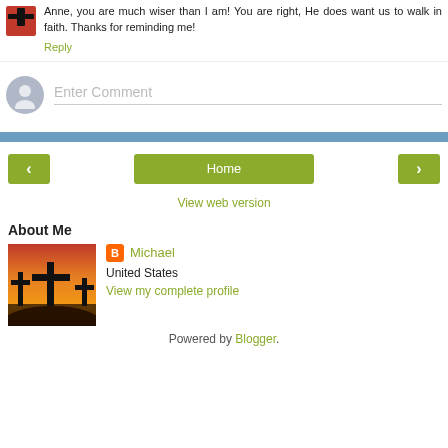Anne, you are much wiser than I am! You are right, He does want us to walk in faith. Thanks for reminding me!
Reply
Enter Comment
Home
View web version
About Me
[Figure (photo): Profile photo showing three crosses silhouetted against a red/orange sunset sky]
Michael
United States
View my complete profile
Powered by Blogger.